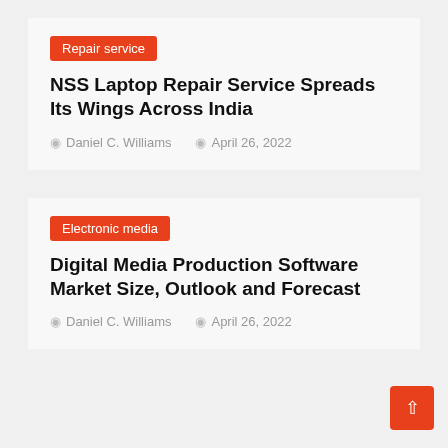Repair service
NSS Laptop Repair Service Spreads Its Wings Across India
Daniel C. Williams   April 26, 2022
Electronic media
Digital Media Production Software Market Size, Outlook and Forecast
Daniel C. Williams   April 26, 2022